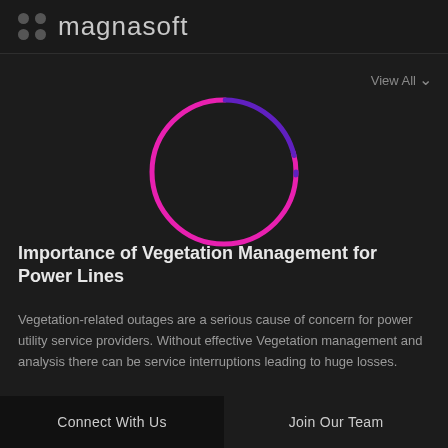magnasoft
[Figure (other): Circular loading spinner with magenta and purple arc segments on dark background, indicating page loading state]
View All
Importance of Vegetation Management for Power Lines
Vegetation-related outages are a serious cause of concern for power utility service providers. Without effective Vegetation management and analysis there can be service interruptions leading to huge losses.
Connect With Us   Join Our Team